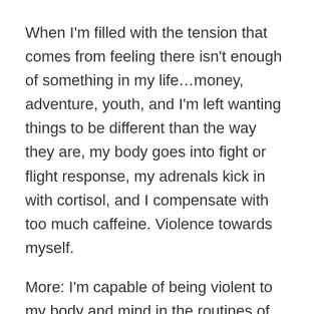When I'm filled with the tension that comes from feeling there isn't enough of something in my life…money, adventure, youth, and I'm left wanting things to be different than the way they are, my body goes into fight or flight response, my adrenals kick in with cortisol, and I compensate with too much caffeine. Violence towards myself.
More: I'm capable of being violent to my body and mind in the routines of my daily life. When I over- schedule my time, push my body, compare and judge myself